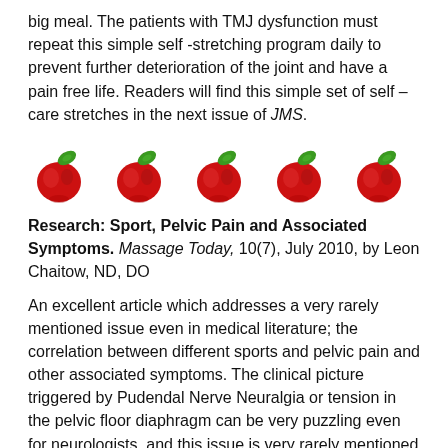big meal. The patients with TMJ dysfunction must repeat this simple self -stretching program daily to prevent further deterioration of the joint and have a pain free life. Readers will find this simple set of self – care stretches in the next issue of JMS.
[Figure (illustration): Five red apple emoji icons in a horizontal row]
Research: Sport, Pelvic Pain and Associated Symptoms. Massage Today, 10(7), July 2010, by Leon Chaitow, ND, DO
An excellent article which addresses a very rarely mentioned issue even in medical literature; the correlation between different sports and pelvic pain and other associated symptoms. The clinical picture triggered by Pudendal Nerve Neuralgia or tension in the pelvic floor diaphragm can be very puzzling even for neurologists, and this issue is very rarely mentioned in massage publications.